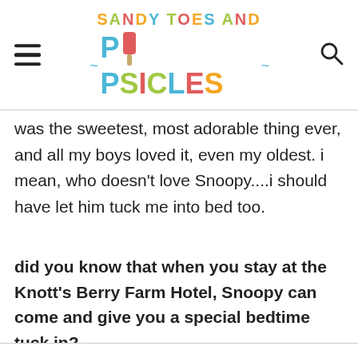Sandy Toes and Popsicles
was the sweetest, most adorable thing ever, and all my boys loved it, even my oldest. i mean, who doesn't love Snoopy....i should have let him tuck me into bed too.
did you know that when you stay at the Knott's Berry Farm Hotel, Snoopy can come and give you a special bedtime tuck in?